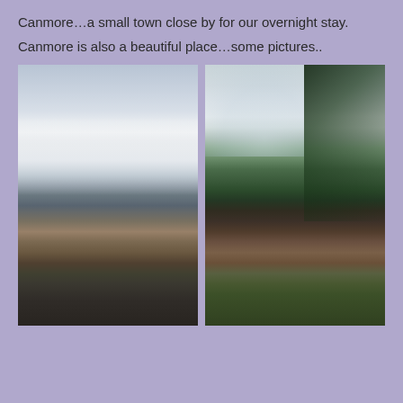Canmore…a small town close by for our overnight stay.
Canmore is also a beautiful place…some pictures..
[Figure (photo): Photo of Canmore showing a mountain town with clouds hanging low over the mountains and residential buildings in the foreground, overcast day]
[Figure (photo): Photo of Canmore showing large evergreen trees in foreground, a log-style building and mountains with low clouds in the background, green grass visible]